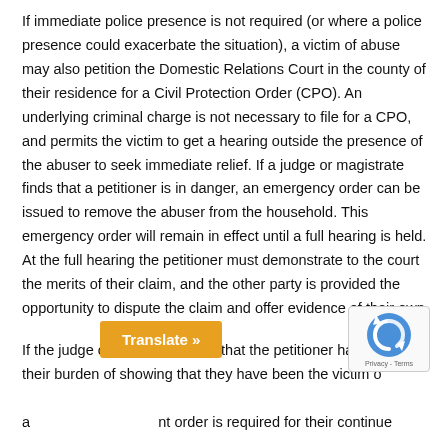If immediate police presence is not required (or where a police presence could exacerbate the situation), a victim of abuse may also petition the Domestic Relations Court in the county of their residence for a Civil Protection Order (CPO). An underlying criminal charge is not necessary to file for a CPO, and permits the victim to get a hearing outside the presence of the abuser to seek immediate relief. If a judge or magistrate finds that a petitioner is in danger, an emergency order can be issued to remove the abuser from the household. This emergency order will remain in effect until a full hearing is held. At the full hearing the petitioner must demonstrate to the court the merits of their claim, and the other party is provided the opportunity to dispute the claim and offer evidence of their own.
If the judge or magistrate finds that the petitioner has satisfied their burden of showing that they have been the victim of abuse and that a protection order is required for their continued safety, a CPO can be put in place for up to five years. The order can